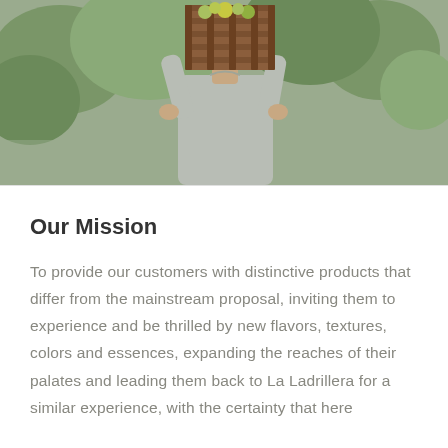[Figure (photo): A farm worker carrying a large wooden crate of fruit on their shoulder, viewed from behind. The worker wears a grey long-sleeve shirt and a cap. Green orchard trees visible in the background.]
Our Mission
To provide our customers with distinctive products that differ from the mainstream proposal, inviting them to experience and be thrilled by new flavors, textures, colors and essences, expanding the reaches of their palates and leading them back to La Ladrillera for a similar experience, with the certainty that here